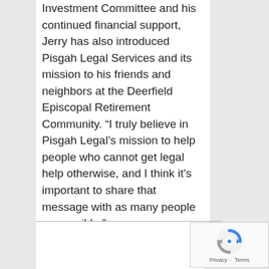Investment Committee and his continued financial support, Jerry has also introduced Pisgah Legal Services and its mission to his friends and neighbors at the Deerfield Episcopal Retirement Community. “I truly believe in Pisgah Legal’s mission to help people who cannot get legal help otherwise, and I think it’s important to share that message with as many people as possible.”
[Figure (logo): reCAPTCHA logo with Privacy and Terms text]